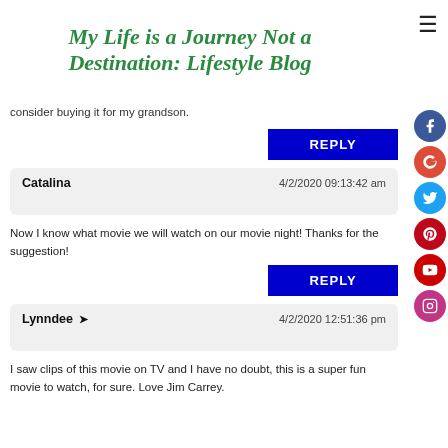My Life is a Journey Not a Destination: Lifestyle Blog
consider buying it for my grandson.
REPLY
Catalina   4/2/2020 09:13:42 am
Now I know what movie we will watch on our movie night! Thanks for the suggestion!
REPLY
Lynndee → 4/2/2020 12:51:36 pm
I saw clips of this movie on TV and I have no doubt, this is a super fun movie to watch, for sure. Love Jim Carrey.